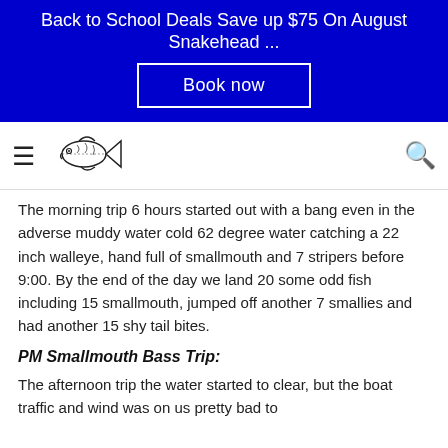Back to School Deals Save up $75 On August Snakehead ...
[Figure (other): Book now button on blue banner background]
[Figure (logo): Fish logo / navigation bar with hamburger menu and search icon]
The morning trip 6 hours started out with a bang even in the adverse muddy water cold 62 degree water catching a 22 inch walleye, hand full of smallmouth and 7 stripers before 9:00. By the end of the day we land 20 some odd fish including 15 smallmouth, jumped off another 7 smallies and had another 15 shy tail bites.
PM Smallmouth Bass Trip:
The afternoon trip the water started to clear, but the boat traffic and wind was on us pretty bad to